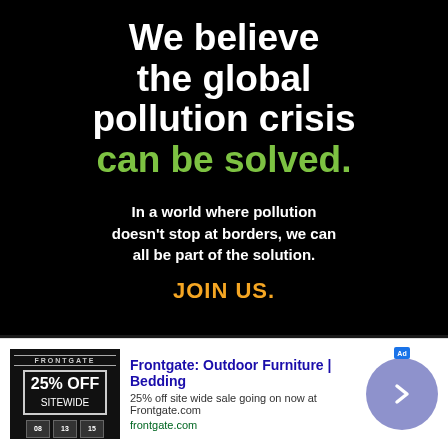We believe the global pollution crisis can be solved.
In a world where pollution doesn't stop at borders, we can all be part of the solution.
JOIN US.
[Figure (logo): Pure Earth logo — diamond/layered-earth icon between the words PURE and EARTH in white bold text on black background]
ezoic   report this ad
Frontgate: Outdoor Furniture | Bedding
25% off site wide sale going on now at Frontgate.com
frontgate.com